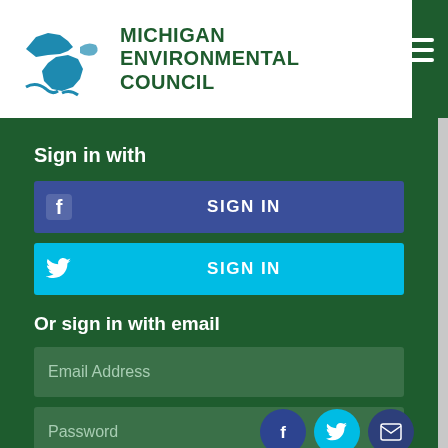[Figure (logo): Michigan Environmental Council logo with Great Lakes map silhouette and organization name]
Sign in with
SIGN IN (Facebook button)
SIGN IN (Twitter button)
Or sign in with email
Email Address
Password